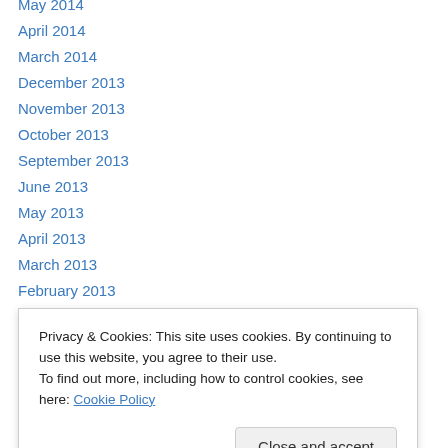May 2014
April 2014
March 2014
December 2013
November 2013
October 2013
September 2013
June 2013
May 2013
April 2013
March 2013
February 2013
January 2013
December 2012
Privacy & Cookies: This site uses cookies. By continuing to use this website, you agree to their use.
To find out more, including how to control cookies, see here: Cookie Policy
February 2012